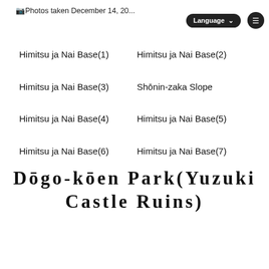📷Photos taken December 14, 20...
Himitsu ja Nai Base(1)
Himitsu ja Nai Base(2)
Himitsu ja Nai Base(3)
Shōnin-zaka Slope
Himitsu ja Nai Base(4)
Himitsu ja Nai Base(5)
Himitsu ja Nai Base(6)
Himitsu ja Nai Base(7)
Dōgo-kōen Park(Yuzuki Castle Ruins)